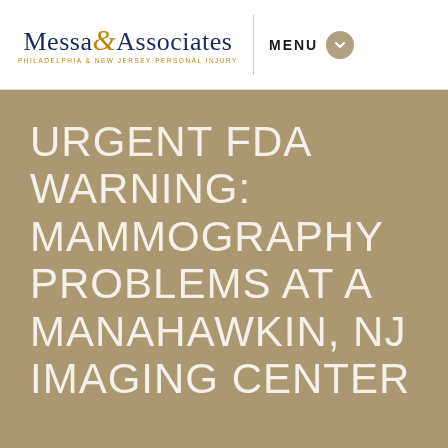Messa & Associates | MENU
URGENT FDA WARNING: MAMMOGRAPHY PROBLEMS AT A MANAHAWKIN, NJ IMAGING CENTER